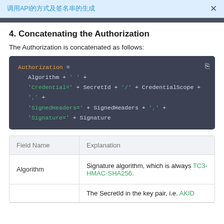调用API的方式及签名串的生成 ×
4. Concatenating the Authorization
The Authorization is concatenated as follows:
[Figure (screenshot): Code block showing Authorization concatenation: Authorization = Algorithm + ' ' + 'Credential=' + SecretId + '/' + CredentialScope + ', ' + 'SignedHeaders=' + SignedHeaders + ', ' + 'Signature=' + Signature]
| Field Name | Explanation |
| --- | --- |
| Algorithm | Signature algorithm, which is always TC3-HMAC-SHA256. |
|  | The SecretId in the key pair, i.e. AKID... |